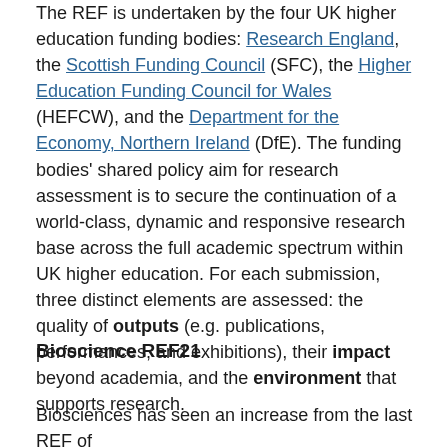The REF is undertaken by the four UK higher education funding bodies: Research England, the Scottish Funding Council (SFC), the Higher Education Funding Council for Wales (HEFCW), and the Department for the Economy, Northern Ireland (DfE). The funding bodies' shared policy aim for research assessment is to secure the continuation of a world-class, dynamic and responsive research base across the full academic spectrum within UK higher education. For each submission, three distinct elements are assessed: the quality of outputs (e.g. publications, performances, and exhibitions), their impact beyond academia, and the environment that supports research.
Bioscience REF21
Biosciences has seen an increase from the last REF of